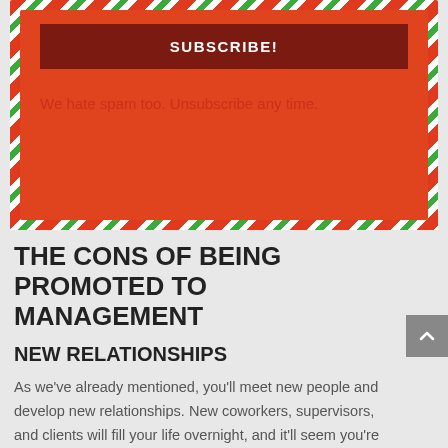[Figure (other): Orange subscription box with red-green diagonal striped border containing a dark red SUBSCRIBE! button and spam disclaimer text]
THE CONS OF BEING PROMOTED TO MANAGEMENT
NEW RELATIONSHIPS
As we've already mentioned, you'll meet new people and develop new relationships. New coworkers, supervisors, and clients will fill your life overnight, and it'll seem you're working for a completely different company. The downside of this can be not liking your new crew or feeling you don't belong. We'll explore that idea later on.